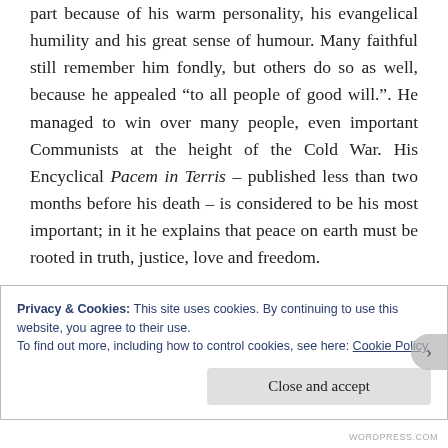part because of his warm personality, his evangelical humility and his great sense of humour. Many faithful still remember him fondly, but others do so as well, because he appealed “to all people of good will.”. He managed to win over many people, even important Communists at the height of the Cold War. His Encyclical Pacem in Terris – published less than two months before his death – is considered to be his most important; in it he explains that peace on earth must be rooted in truth, justice, love and freedom.
Privacy & Cookies: This site uses cookies. By continuing to use this website, you agree to their use.
To find out more, including how to control cookies, see here: Cookie Policy
Close and accept